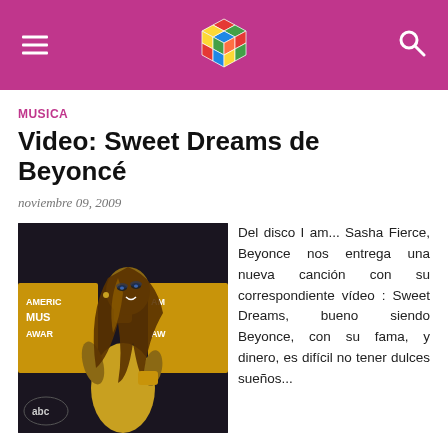MUSICA — Video: Sweet Dreams de Beyoncé
MUSICA
Video: Sweet Dreams de Beyoncé
noviembre 09, 2009
[Figure (photo): Beyoncé at American Music Awards, wearing a golden dress, posed looking over her shoulder, with ABC and American Music Awards signage in the background.]
Del disco I am... Sasha Fierce, Beyonce nos entrega una nueva canción con su correspondiente vídeo : Sweet Dreams, bueno siendo Beyonce, con su fama, y dinero, es difícil no tener dulces sueños...